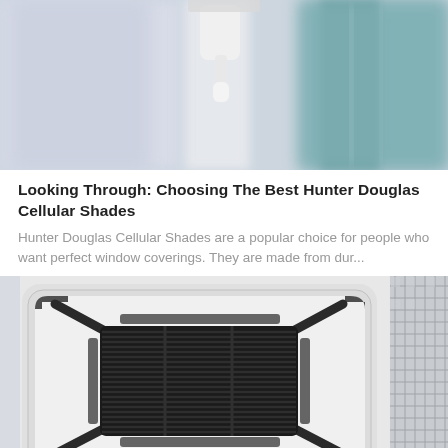[Figure (photo): Blurred close-up photo of window blinds or cellular shades hardware, showing a white/gray bracket or mechanism against a blurred blue-green window background]
Looking Through: Choosing The Best Hunter Douglas Cellular Shades
Hunter Douglas Cellular Shades are a popular choice for people who want perfect window coverings. They are made from dur...
[Figure (photo): Close-up overhead view of a ceiling cassette air conditioning unit with a dark louvered grill inside a white square housing with black corner brackets, mounted on a white ceiling. A tiled or mosaic grid pattern is visible on the right edge.]